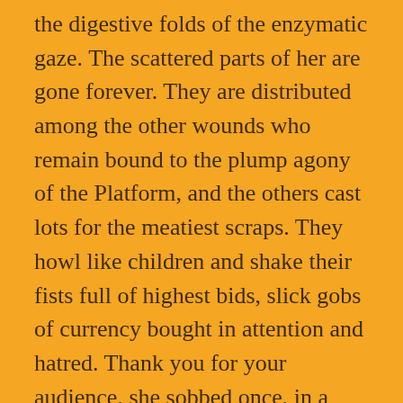the digestive folds of the enzymatic gaze. The scattered parts of her are gone forever. They are distributed among the other wounds who remain bound to the plump agony of the Platform, and the others cast lots for the meatiest scraps. They howl like children and shake their fists full of highest bids, slick gobs of currency bought in attention and hatred. Thank you for your audience, she sobbed once, in a regular moment of weakness, allowed to feel something almost as good as forgiveness. Almost enough clout to afford a name. One day she could have a new face, to beam and blossom in, a state-of-the-art craftsmanship of honesty. I know on that day I will be close enough to real, she prays every night. I will